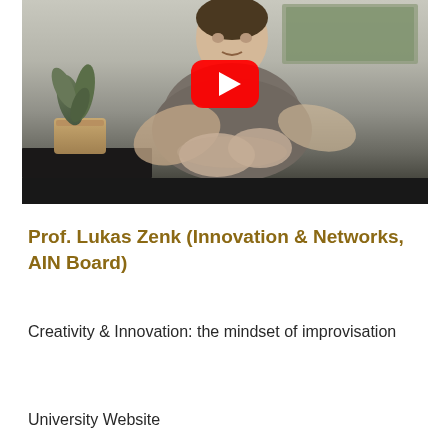[Figure (screenshot): YouTube video thumbnail showing a man in a grey t-shirt gesturing with his hands in front of a desk with a plant and a painting on the wall. A red YouTube play button overlay is visible in the center. The bottom of the thumbnail has a dark bar.]
Prof. Lukas Zenk (Innovation & Networks, AIN Board)
Creativity & Innovation: the mindset of improvisation
University Website